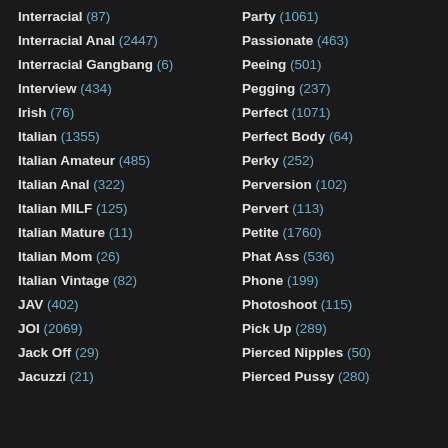Interracial (87)
Interracial Anal (2447)
Interracial Gangbang (6)
Interview (434)
Irish (76)
Italian (1355)
Italian Amateur (485)
Italian Anal (322)
Italian MILF (125)
Italian Mature (11)
Italian Mom (26)
Italian Vintage (82)
JAV (402)
JOI (2069)
Jack Off (29)
Jacuzzi (21)
Party (1061)
Passionate (463)
Peeing (501)
Pegging (237)
Perfect (1071)
Perfect Body (64)
Perky (252)
Perversion (102)
Pervert (113)
Petite (1760)
Phat Ass (536)
Phone (199)
Photoshoot (115)
Pick Up (289)
Pierced Nipples (50)
Pierced Pussy (280)